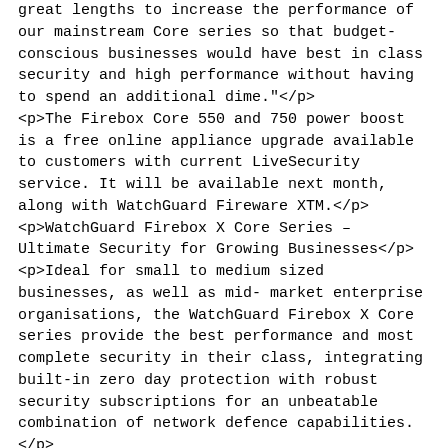great lengths to increase the performance of our mainstream Core series so that budget-conscious businesses would have best in class security and high performance without having to spend an additional dime."</p>
<p>The Firebox Core 550 and 750 power boost is a free online appliance upgrade available to customers with current LiveSecurity service. It will be available next month, along with WatchGuard Fireware XTM.</p>
<p>WatchGuard Firebox X Core Series – Ultimate Security for Growing Businesses</p>
<p>Ideal for small to medium sized businesses, as well as mid-market enterprise organisations, the WatchGuard Firebox X Core series provide the best performance and most complete security in their class, integrating built-in zero day protection with robust security subscriptions for an unbeatable combination of network defence capabilities.</p>
<p>Powerful, yet easy to configure and manage, the Firebox Core series integrate a powerful combination of application proxy firewall, VPN, intrusion prevention, gateway anti-virus, anti-spyware, anti-spam, and URL filtering into a single appliance for comprehensive defences, reducing the time and cost associated with managing multiple point-solutions.</p>
<p>Unlike other security appliances, the WatchGuard Firebox Core...